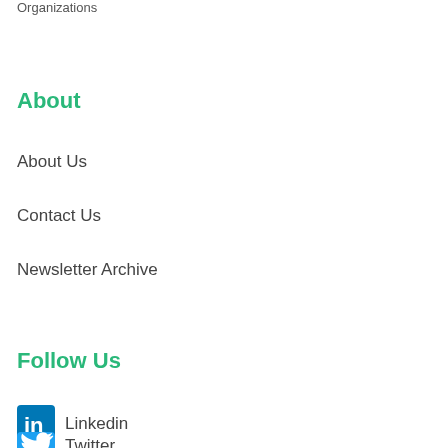Organizations
About
About Us
Contact Us
Newsletter Archive
Follow Us
Linkedin
Twitter